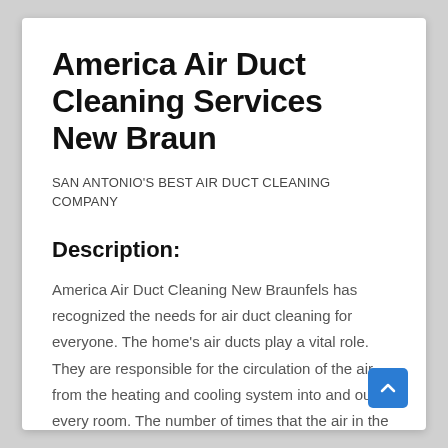America Air Duct Cleaning Services New Braun
SAN ANTONIO'S BEST AIR DUCT CLEANING COMPANY
Description:
America Air Duct Cleaning New Braunfels has recognized the needs for air duct cleaning for everyone. The home's air ducts play a vital role. They are responsible for the circulation of the air from the heating and cooling system into and out of every room. The number of times that the air in the same air